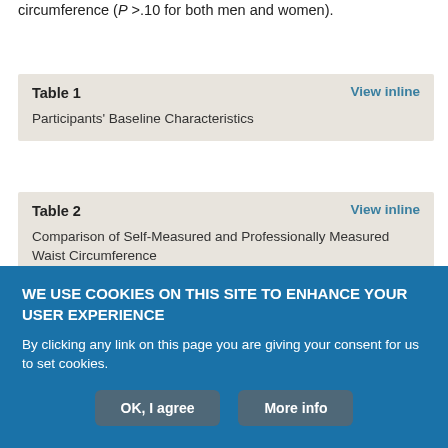circumference (P >.10 for both men and women).
Table 1 — Participants' Baseline Characteristics
Table 2 — Comparison of Self-Measured and Professionally Measured Waist Circumference
The Bland-Altman plots (Figures 1a and 1b) illustrate the agreement between professional measurements and the difference between self- and professional measurements. For both men and women
WE USE COOKIES ON THIS SITE TO ENHANCE YOUR USER EXPERIENCE
By clicking any link on this page you are giving your consent for us to set cookies.